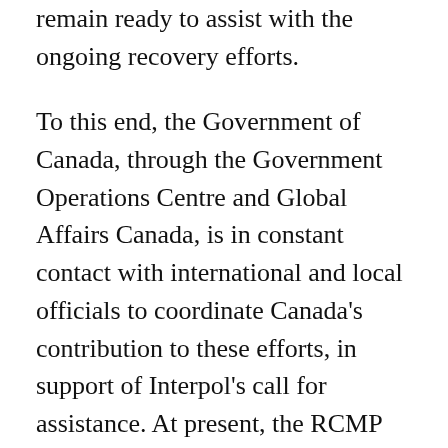remain ready to assist with the ongoing recovery efforts.
To this end, the Government of Canada, through the Government Operations Centre and Global Affairs Canada, is in constant contact with international and local officials to coordinate Canada's contribution to these efforts, in support of Interpol's call for assistance. At present, the RCMP has provided a team of three specialized personnel to assist with providing disaster victim identification support.
Four additional Canadian officials have been dispatched to Ethiopia to provide added